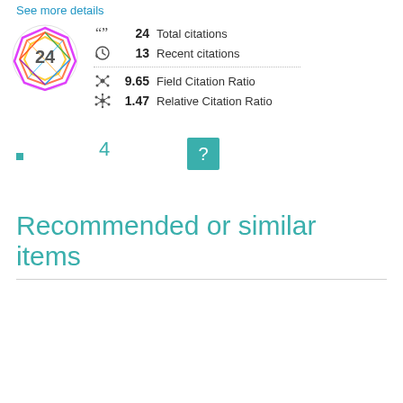See more details
[Figure (infographic): Citation badge showing number 24 inside a colorful geometric hexagonal/diamond shaped badge with rainbow colors (red, orange, yellow, green, blue, purple). Metrics shown: 24 Total citations, 13 Recent citations, 9.65 Field Citation Ratio, 1.47 Relative Citation Ratio]
4
[Figure (other): Teal/turquoise square button with a white question mark]
Recommended or similar items